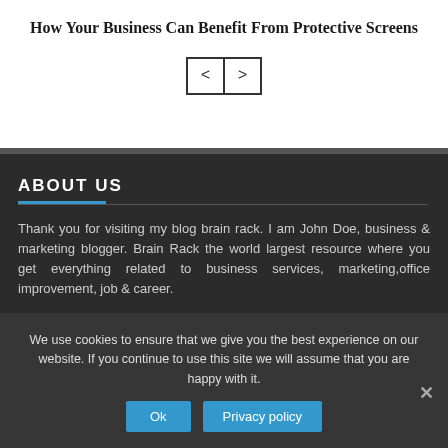How Your Business Can Benefit From Protective Screens
[Figure (other): Navigation arrows: left and right pagination buttons]
ABOUT US
Thank you for visiting my blog brain rack. I am John Doe, business & marketing blogger. Brain Rack the world largest resource where you get everything related to business services, marketing,office improvement, job & career.
We use cookies to ensure that we give you the best experience on our website. If you continue to use this site we will assume that you are happy with it.